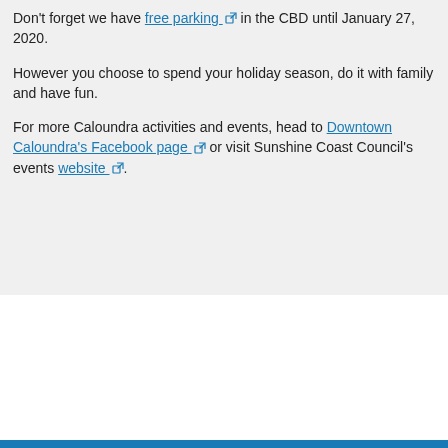Don't forget we have free parking [external link] in the CBD until January 27, 2020.
However you choose to spend your holiday season, do it with family and have fun.
For more Caloundra activities and events, head to Downtown Caloundra's Facebook page [external link] or visit Sunshine Coast Council's events website [external link].